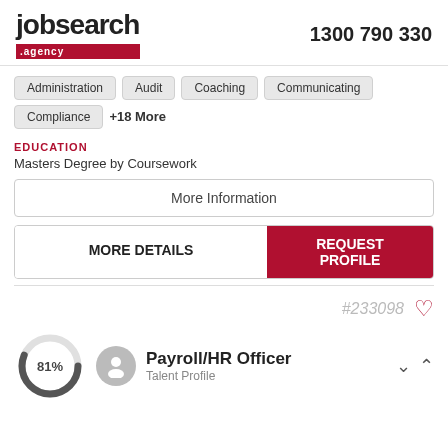jobsearch .agency   1300 790 330
Administration
Audit
Coaching
Communicating
Compliance
+18 More
EDUCATION
Masters Degree by Coursework
More Information
MORE DETAILS
REQUEST PROFILE
#233098
81%
Payroll/HR Officer
Talent Profile